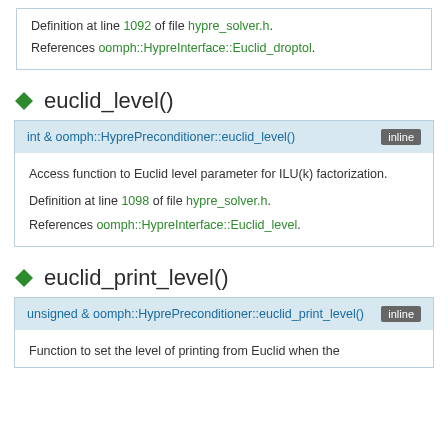Definition at line 1092 of file hypre_solver.h.
References oomph::HypreInterface::Euclid_droptol.
euclid_level()
int & oomph::HyprePreconditioner::euclid_level()
Access function to Euclid level parameter for ILU(k) factorization.
Definition at line 1098 of file hypre_solver.h.
References oomph::HypreInterface::Euclid_level.
euclid_print_level()
unsigned & oomph::HyprePreconditioner::euclid_print_level()
Function to set the level of printing from Euclid when the